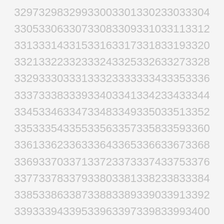3297 3298 3299 3300 3301 3302 3303 3304
3305 3306 3307 3308 3309 3310 3311 3312
3313 3314 3315 3316 3317 3318 3319 3320
3321 3322 3323 3324 3325 3326 3327 3328
3329 3330 3331 3332 3333 3334 3335 3336
3337 3338 3339 3340 3341 3342 3343 3344
3345 3346 3347 3348 3349 3350 3351 3352
3353 3354 3355 3356 3357 3358 3359 3360
3361 3362 3363 3364 3365 3366 3367 3368
3369 3370 3371 3372 3373 3374 3375 3376
3377 3378 3379 3380 3381 3382 3383 3384
3385 3386 3387 3388 3389 3390 3391 3392
3393 3394 3395 3396 3397 3398 3399 3400